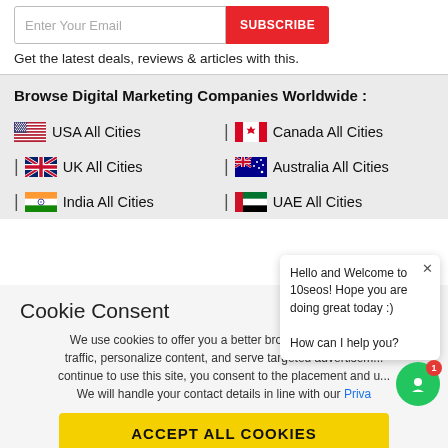Get the latest deals, reviews & articles with this.
Browse Digital Marketing Companies Worldwide :
USA All Cities
Canada All Cities
UK All Cities
Australia All Cities
India All Cities
UAE All Cities
Cookie Consent
We use cookies to offer you a better browsing experience, traffic, personalize content, and serve targeted advertisements. If you continue to use this site, you consent to the placement and use of cookies. We will handle your contact details in line with our Priva...
ACCEPT ALL COOKIES
Hello and Welcome to 10seos! Hope you are doing great today :)

How can I help you?